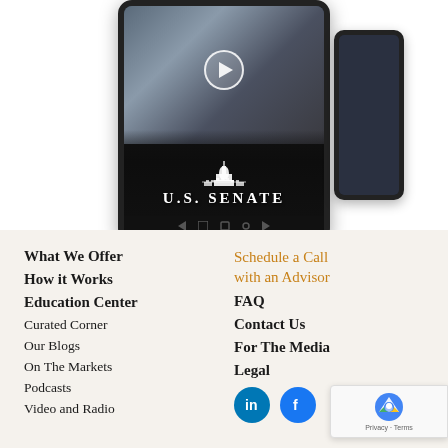[Figure (screenshot): A tablet device showing a U.S. Senate video with play button, Capitol building icon, and 'U.S. SENATE' text. A second tablet is partially visible on the right.]
What We Offer
How it Works
Education Center
Curated Corner
Our Blogs
On The Markets
Podcasts
Video and Radio
Schedule a Call with an Advisor
FAQ
Contact Us
For The Media
Legal